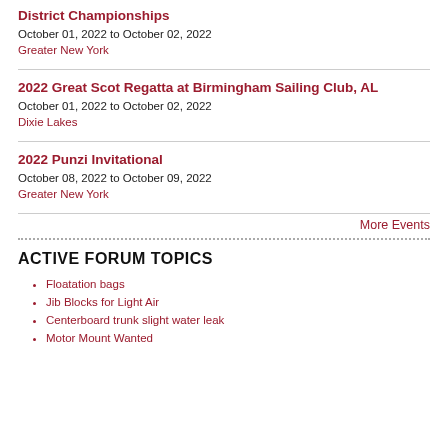District Championships
October 01, 2022 to October 02, 2022
Greater New York
2022 Great Scot Regatta at Birmingham Sailing Club, AL
October 01, 2022 to October 02, 2022
Dixie Lakes
2022 Punzi Invitational
October 08, 2022 to October 09, 2022
Greater New York
More Events
ACTIVE FORUM TOPICS
Floatation bags
Jib Blocks for Light Air
Centerboard trunk slight water leak
Motor Mount Wanted